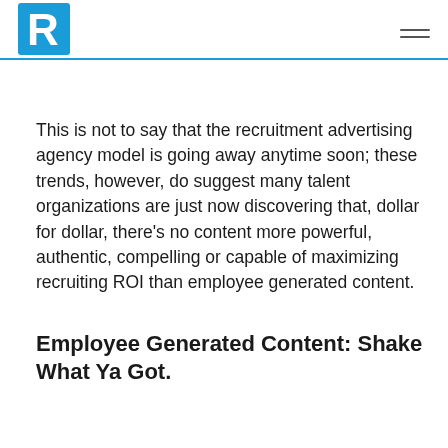R logo and hamburger menu
This is not to say that the recruitment advertising agency model is going away anytime soon; these trends, however, do suggest many talent organizations are just now discovering that, dollar for dollar, there’s no content more powerful, authentic, compelling or capable of maximizing recruiting ROI than employee generated content.
Employee Generated Content: Shake What Ya Got.